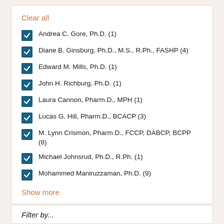Clear all
Andrea C. Gore, Ph.D. (1)
Diane B. Ginsburg, Ph.D., M.S., R.Ph., FASHP (4)
Edward M. Mills, Ph.D. (1)
John H. Richburg, Ph.D. (1)
Laura Cannon, Pharm.D., MPH (1)
Lucas G. Hill, Pharm.D., BCACP (3)
M. Lynn Crismon, Pharm.D., FCCP, DABCP, BCPP (8)
Michael Johnsrud, Ph.D., R.Ph. (1)
Mohammed Maniruzzaman, Ph.D. (9)
Show more